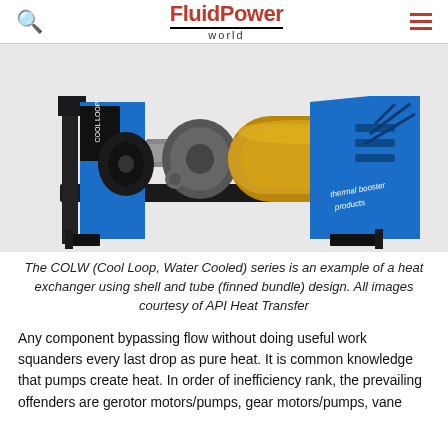FluidPower world
[Figure (photo): A COLW (Cool Loop, Water Cooled) heat exchanger unit with a gold-colored cylindrical shell and blue mounting frame on a black base plate, with branding reading 'thermal booster products'.]
The COLW (Cool Loop, Water Cooled) series is an example of a heat exchanger using shell and tube (finned bundle) design. All images courtesy of API Heat Transfer
Any component bypassing flow without doing useful work squanders every last drop as pure heat. It is common knowledge that pumps create heat. In order of inefficiency rank, the prevailing offenders are gerotor motors/pumps, gear motors/pumps, vane